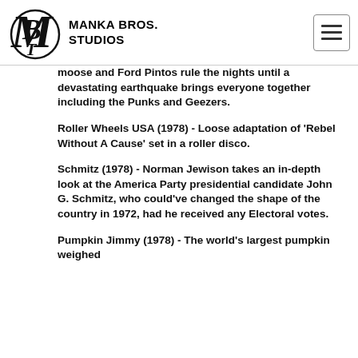MANKA BROS. STUDIOS
moose and Ford Pintos rule the nights until a devastating earthquake brings everyone together including the Punks and Geezers.
Roller Wheels USA (1978) - Loose adaptation of 'Rebel Without A Cause' set in a roller disco.
Schmitz (1978) - Norman Jewison takes an in-depth look at the America Party presidential candidate John G. Schmitz, who could've changed the shape of the country in 1972, had he received any Electoral votes.
Pumpkin Jimmy (1978) - The world's largest pumpkin weighed